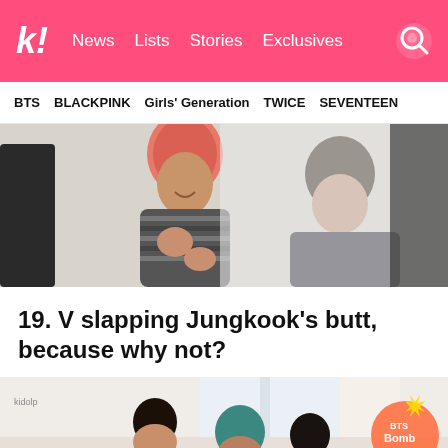k! News Lists Stories Exclusives
BTS  BLACKPINK  Girls' Generation  TWICE  SEVENTEEN
[Figure (photo): Two BTS members laughing together at a photo shoot. One has vivid pink/orange hair wearing a striped sweater, the other has dark hair wearing a dark jacket.]
19. V slapping Jungkook's butt, because why not?
[Figure (photo): BTS members at what appears to be a BTS Bomb video shoot, one member has teal hair. BTS Bomb logo visible in bottom right corner.]